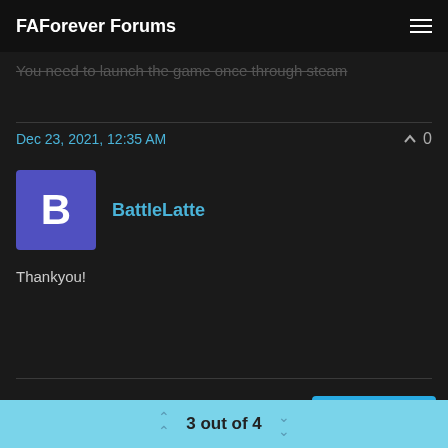FAForever Forums
You need to launch the game once through steam
Dec 23, 2021, 12:35 AM
BattleLatte
Thankyou!
2   4   397   Log in to reply
3 out of 4